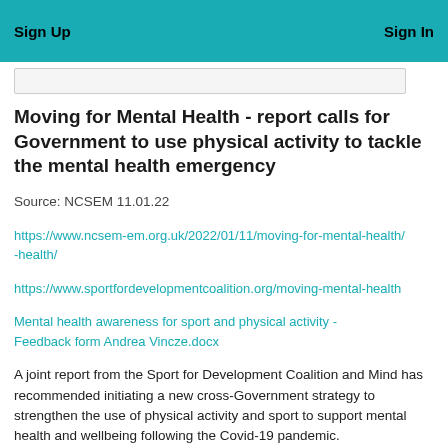Sign Up    Sign In
Moving for Mental Health - report calls for Government to use physical activity to tackle the mental health emergency
Source: NCSEM 11.01.22
https://www.ncsem-em.org.uk/2022/01/11/moving-for-mental-health/
https://www.sportfordevelopmentcoalition.org/moving-mental-health
Mental health awareness for sport and physical activity - Feedback form Andrea Vincze.docx
A joint report from the Sport for Development Coalition and Mind has recommended initiating a new cross-Government strategy to strengthen the use of physical activity and sport to support mental health and wellbeing following the Covid-19 pandemic.